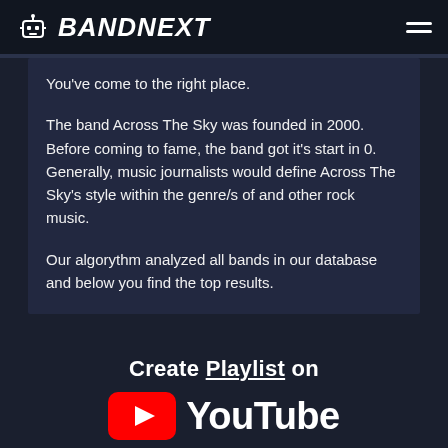BANDNEXT
You've come to the right place.
The band Across The Sky was founded in 2000. Before coming to fame, the band got it's start in 0. Generally, music journalists would define Across The Sky's style within the genre/s of and other rock music.
Our algorythm analyzed all bands in our database and below you find the top results.
Create Playlist on YouTube